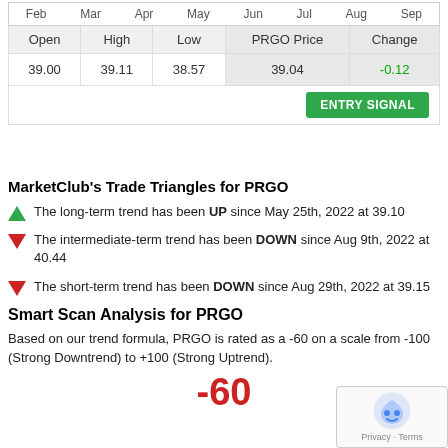| Open | High | Low | PRGO Price | Change |
| --- | --- | --- | --- | --- |
| 39.00 | 39.11 | 38.57 | 39.04 | -0.12 |
MarketClub's Trade Triangles for PRGO
The long-term trend has been UP since May 25th, 2022 at 39.10
The intermediate-term trend has been DOWN since Aug 9th, 2022 at 40.44
The short-term trend has been DOWN since Aug 29th, 2022 at 39.15
Smart Scan Analysis for PRGO
Based on our trend formula, PRGO is rated as a -60 on a scale from -100 (Strong Downtrend) to +100 (Strong Uptrend).
-60